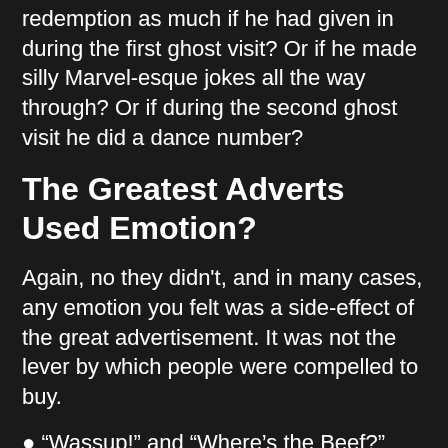redemption as much if he had given in during the first ghost visit? Or if he made silly Marvel-esque jokes all the way through? Or if during the second ghost visit he did a dance number?
The Greatest Adverts Used Emotion?
Again, no they didn't, and in many cases, any emotion you felt was a side-effect of the great advertisement. It was not the lever by which people were compelled to buy.
● “Wassup!” and “Where’s the Beef?” didn't use emotion, but they created it when the sayings were repeated to friends or on comedy TV.
● Never has somebody felt emotionally compelled to buy a very safe Volvo car.